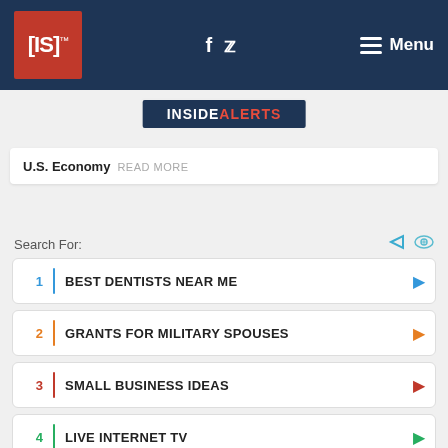[IS]™ | f | (twitter) | Menu
INSIDEALERTS
U.S. Economy READ MORE
Search For:
1 BEST DENTISTS NEAR ME
2 GRANTS FOR MILITARY SPOUSES
3 SMALL BUSINESS IDEAS
4 LIVE INTERNET TV
5 FREE BUSINESS PLANS